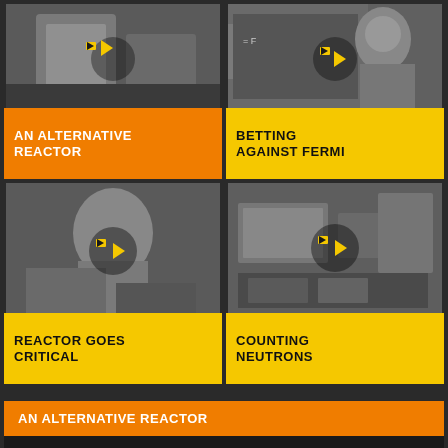[Figure (photo): Black and white photo of a scientific apparatus/reactor with play button overlay]
AN ALTERNATIVE REACTOR
[Figure (photo): Black and white photo of a man (Fermi) at a chalkboard with play button overlay]
BETTING AGAINST FERMI
[Figure (photo): Black and white photo of Enrico Fermi with play button overlay]
REACTOR GOES CRITICAL
[Figure (photo): Black and white photo of laboratory equipment with play button overlay]
COUNTING NEUTRONS
AN ALTERNATIVE REACTOR
[Figure (screenshot): Video thumbnail showing An Alternative Reactor]